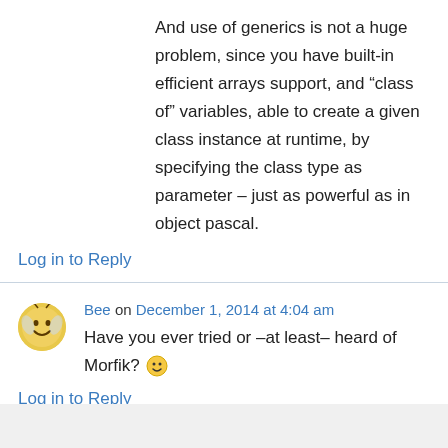And use of generics is not a huge problem, since you have built-in efficient arrays support, and “class of” variables, able to create a given class instance at runtime, by specifying the class type as parameter – just as powerful as in object pascal.
Log in to Reply
Bee on December 1, 2014 at 4:04 am
Have you ever tried or –at least– heard of Morfik? 🙂
Log in to Reply